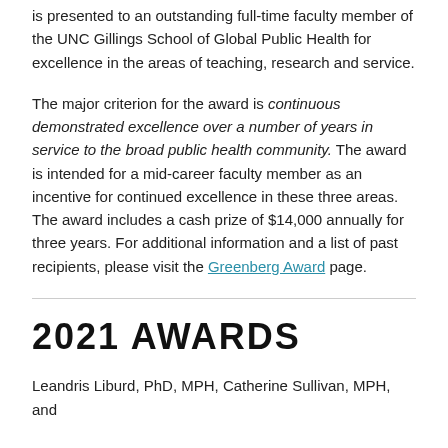is presented to an outstanding full-time faculty member of the UNC Gillings School of Global Public Health for excellence in the areas of teaching, research and service.
The major criterion for the award is continuous demonstrated excellence over a number of years in service to the broad public health community. The award is intended for a mid-career faculty member as an incentive for continued excellence in these three areas. The award includes a cash prize of $14,000 annually for three years. For additional information and a list of past recipients, please visit the Greenberg Award page.
2021 AWARDS
Leandris Liburd, PhD, MPH, Catherine Sullivan, MPH, and